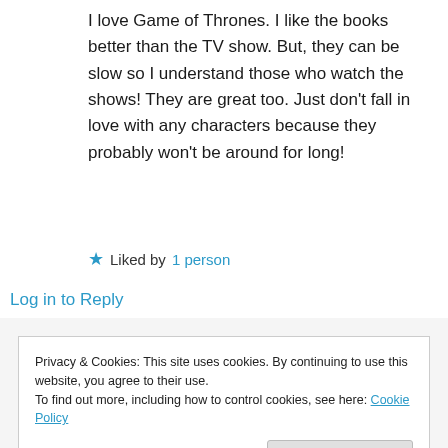I love Game of Thrones. I like the books better than the TV show. But, they can be slow so I understand those who watch the shows! They are great too. Just don't fall in love with any characters because they probably won't be around for long!
★ Liked by 1 person
Log in to Reply
Privacy & Cookies: This site uses cookies. By continuing to use this website, you agree to their use. To find out more, including how to control cookies, see here: Cookie Policy
Close and accept